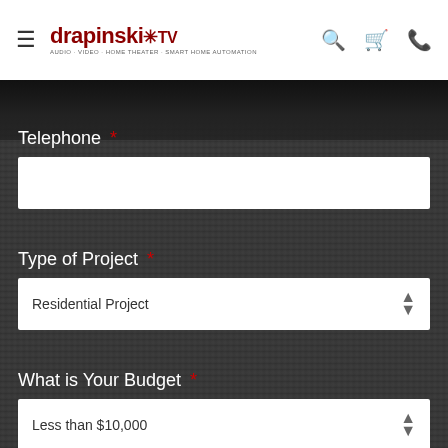drapinski TV — navigation header with hamburger menu, search, cart, and phone icons
Telephone *
Type of Project *
Residential Project (dropdown)
What is Your Budget *
Less than $10,000 (dropdown)